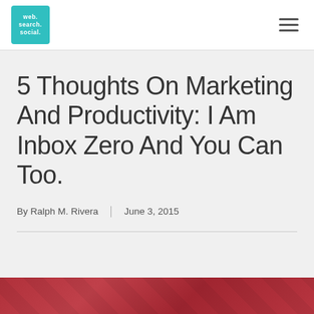web. search. social. [logo] | hamburger menu
5 Thoughts On Marketing And Productivity: I Am Inbox Zero And You Can Too.
By Ralph M. Rivera | June 3, 2015
[Figure (photo): Partial view of a reddish-brown image at the bottom of the page, showing the top edge of an article featured image with dark red/maroon tones.]